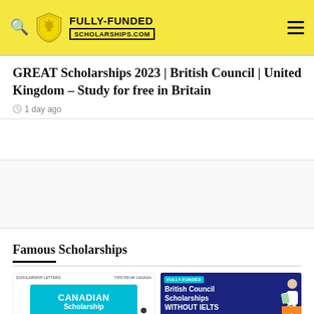FULLY-FUNDED SCHOLARSHIPS.COM
GREAT Scholarships 2023 | British Council | United Kingdom – Study for free in Britain
1 day ago
[Figure (other): Advertisement block (empty/placeholder)]
Famous Scholarships
[Figure (illustration): Canadian Scholarship promotional card with teal background text box]
[Figure (illustration): British Council Scholarships WITHOUT IELTS promotional card on dark blue background with FULLY-FUNDED badge and illustrated figure]